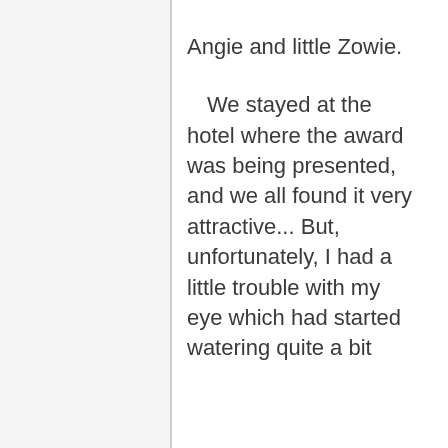Angie and little Zowie.

   We stayed at the hotel where the award was being presented, and we all found it very attractive... But, unfortunately, I had a little trouble with my eye which had started watering quite a bit